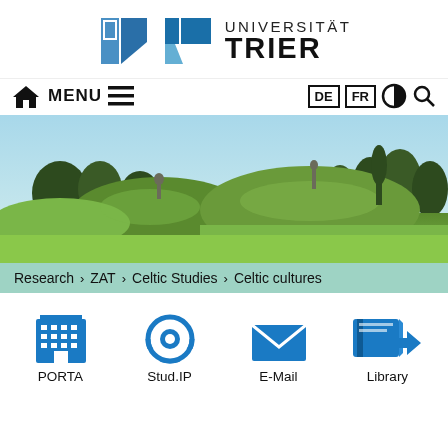[Figure (logo): Universität Trier logo with blue geometric icon and text UNIVERSITÄT TRIER]
Home  MENU ≡  DE  FR  ◐  🔍
[Figure (photo): Landscape photo showing green grassy mounds/tumuli with trees in background under blue sky]
Research > ZAT > Celtic Studies > Celtic cultures
[Figure (infographic): Four quick-link icons: PORTA (building), Stud.IP (headphones), E-Mail (envelope), Library (book with arrow)]